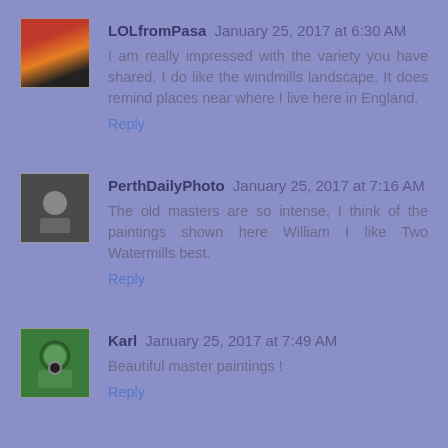LOLfromPasa  January 25, 2017 at 6:30 AM
I am really impressed with the variety you have shared. I do like the windmills landscape. It does remind places near where I live here in England.
Reply
PerthDailyPhoto  January 25, 2017 at 7:16 AM
The old masters are so intense, I think of the paintings shown here William I like Two Watermills best.
Reply
Karl  January 25, 2017 at 7:49 AM
Beautiful master paintings !
Reply